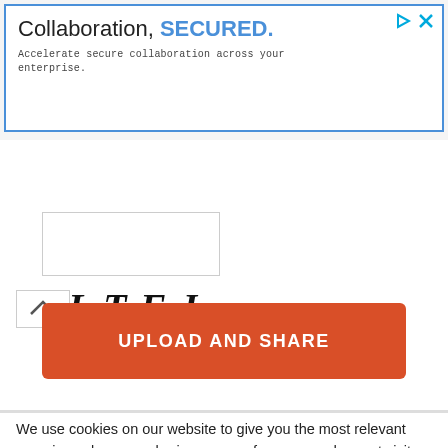[Figure (screenshot): Advertisement banner with blue border. Heading: 'Collaboration, SECURED.' and subtext: 'Accelerate secure collaboration across your enterprise.' with ad icons in top right.]
[Figure (logo): Logo area showing upward caret symbol and italic serif letters: J L T F J]
[Figure (screenshot): Empty input/upload box with light border]
[Figure (screenshot): Orange-red button labeled 'UPLOAD AND SHARE']
We use cookies on our website to give you the most relevant experience by remembering your preferences and repeat visits. By clicking “Accept”, you consent to the use of ALL the cookies. Do not sell my personal information.
Cookie Settings  Accept